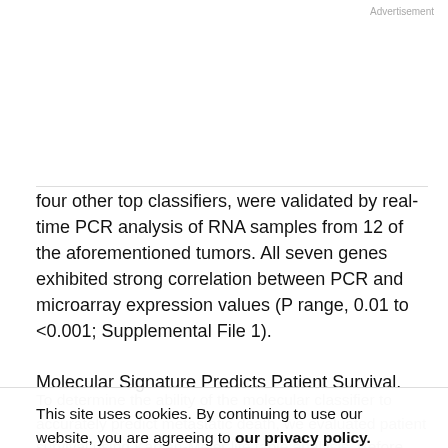Advertisement
four other top classifiers, were validated by real-time PCR analysis of RNA samples from 12 of the aforementioned tumors. All seven genes exhibited strong correlation between PCR and microarray expression values (P range, 0.01 to <0.001; Supplemental File 1).
Molecular Signature Predicts Patient Survival.
To determine the ability of the molecular classifier to accurately predict metastatic death, we evaluated patient survival using Kaplan-Meier life table analysis. Before performing this analysis, an additional independent set of
This site uses cookies. By continuing to use our website, you are agreeing to our privacy policy.
Accept